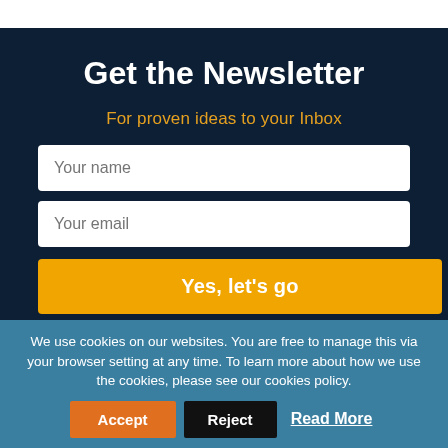Get the Newsletter
For proven ideas to your Inbox
Your name
Your email
Yes, let's go
No thanks, I've got it all sorted
We use cookies on our websites. You are free to manage this via your browser setting at any time. To learn more about how we use the cookies, please see our cookies policy.
Accept
Reject
Read More